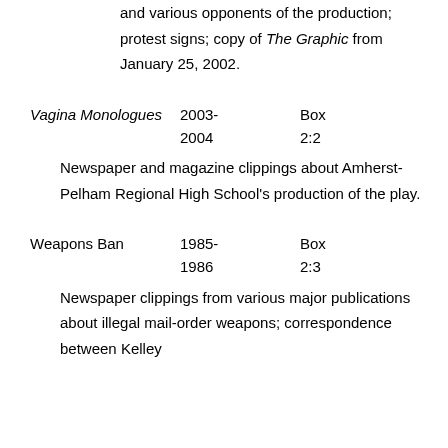and various opponents of the production; protest signs; copy of The Graphic from January 25, 2002.
Vagina Monologues	2003-2004	Box 2:2
Newspaper and magazine clippings about Amherst-Pelham Regional High School's production of the play.
Weapons Ban	1985-1986	Box 2:3
Newspaper clippings from various major publications about illegal mail-order weapons; correspondence between Kelley